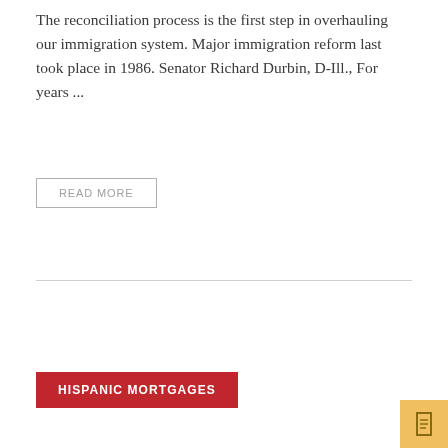The reconciliation process is the first step in overhauling our immigration system. Major immigration reform last took place in 1986. Senator Richard Durbin, D-Ill., For years ...
READ MORE
HISPANIC MORTGAGES